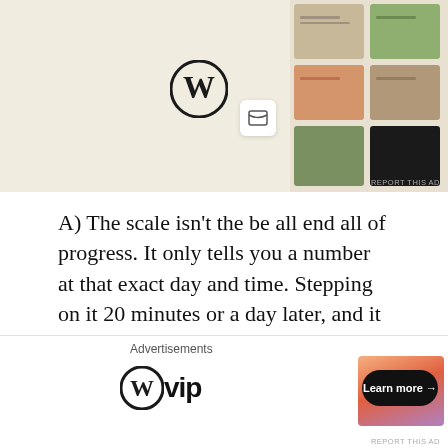[Figure (screenshot): Top advertisement banner showing WordPress logo and food/recipe website screenshot with colorful dishes]
REPORT THIS AD
A) The scale isn't the be all end all of progress. It only tells you a number at that exact day and time. Stepping on it 20 minutes or a day later, and it can tell you a totally different number....
B) Just about everyone strays from their normal routines and diets during this time of year, and you don't need that kind of negativity, or stress, in your life. Save the scale
[Figure (logo): WordPress VIP logo close button and advertisement footer with Learn more button]
Advertisements
REPORT THIS AD